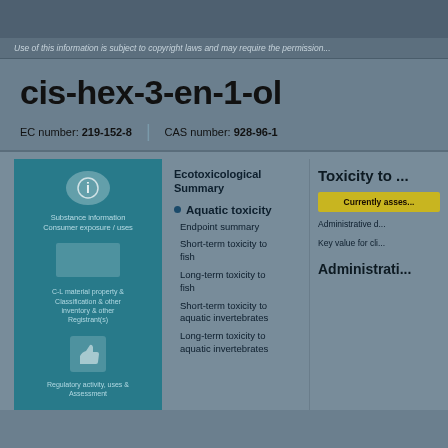Use of this information is subject to copyright laws and may require the permission...
cis-hex-3-en-1-ol
EC number: 219-152-8 | CAS number: 928-96-1
[Figure (infographic): Teal info panel with icons showing substance hazard information, structure diagram, and thumbs up/down icons]
Ecotoxicological Summary
Aquatic toxicity
Endpoint summary
Short-term toxicity to fish
Long-term toxicity to fish
Short-term toxicity to aquatic invertebrates
Long-term toxicity to aquatic invertebrates
Toxicity to ...
Currently assessed...
Administrative d...
Key value for cli...
Administration...